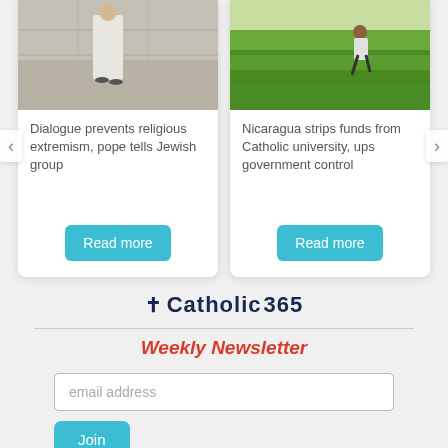[Figure (photo): Left card: person in white robes near a stone wall]
Dialogue prevents religious extremism, pope tells Jewish group
Read more
[Figure (photo): Right card: person walking near green hedges outdoors]
Nicaragua strips funds from Catholic university, ups government control
Read more
†Catholic365
Weekly Newsletter
email address
Join